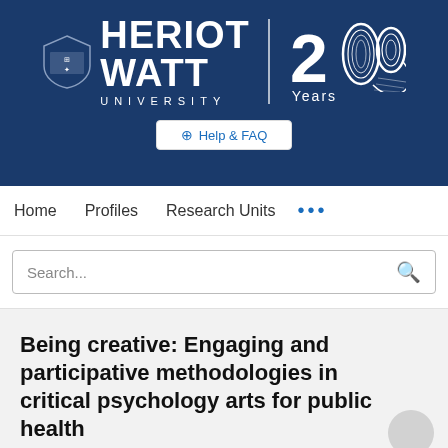[Figure (logo): Heriot-Watt University logo with shield and '200 Years' anniversary mark on dark navy blue banner background]
⊕ Help & FAQ
Home   Profiles   Research Units   ...
Search...
Being creative: Engaging and participative methodologies in critical psychology arts for public health